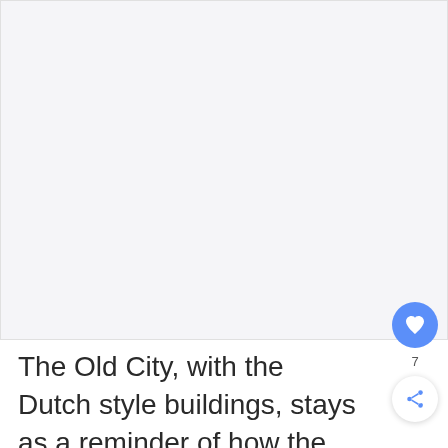[Figure (photo): A large photo placeholder area showing an Old City with Dutch style buildings. The image area is light gray/white.]
The Old City, with the Dutch style buildings, stays as a reminder of how the city looked before the modern buildings were built.